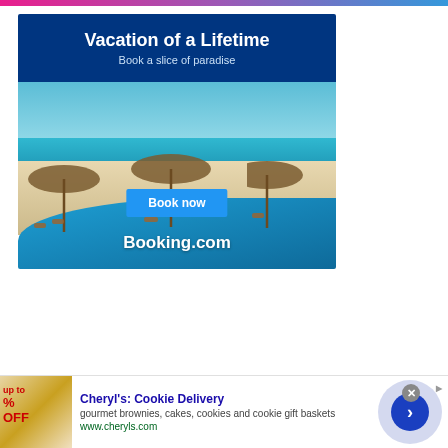[Figure (illustration): Booking.com advertisement showing a tropical beach resort with thatched umbrellas, lounge chairs, turquoise water, white sand beach, and an infinity pool. Blue header reads 'Vacation of a Lifetime / Book a slice of paradise' with a 'Book now' button and 'Booking.com' logo.]
[Figure (illustration): Cheryl's Cookie Delivery advertisement showing cookies and baked goods with percentage off offer, alongside text 'gourmet brownies, cakes, cookies and cookie gift baskets' and URL www.cheryls.com, with a navigation arrow button.]